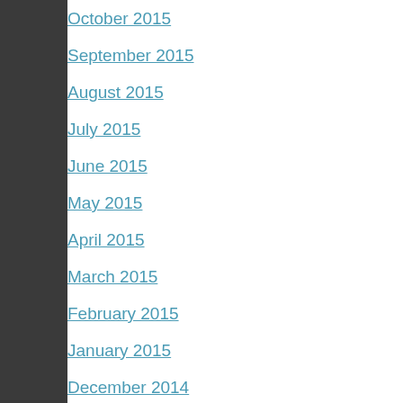October 2015
September 2015
August 2015
July 2015
June 2015
May 2015
April 2015
March 2015
February 2015
January 2015
December 2014
November 2014
October 2014
September 2014
August 2014